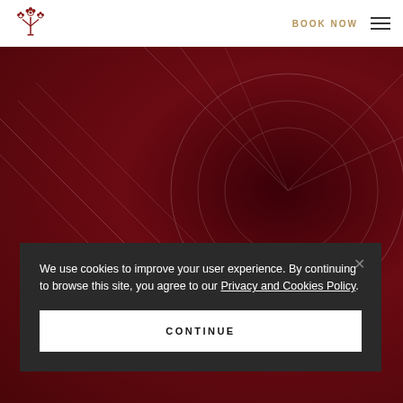[Figure (logo): Decorative floral/crown logo in red]
BOOK NOW
[Figure (illustration): Dark crimson red background with subtle decorative pattern, resembling a hotel or luxury brand hero image]
We use cookies to improve your user experience. By continuing to browse this site, you agree to our Privacy and Cookies Policy.
CONTINUE